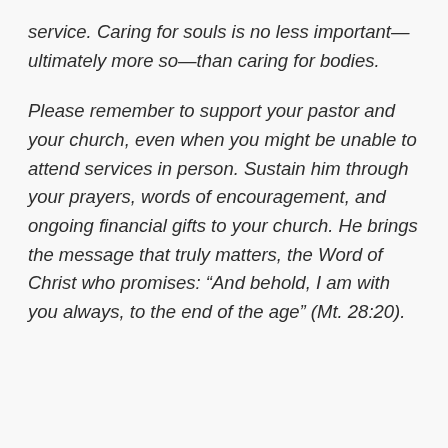service. Caring for souls is no less important—ultimately more so—than caring for bodies.
Please remember to support your pastor and your church, even when you might be unable to attend services in person. Sustain him through your prayers, words of encouragement, and ongoing financial gifts to your church. He brings the message that truly matters, the Word of Christ who promises: “And behold, I am with you always, to the end of the age” (Mt. 28:20).